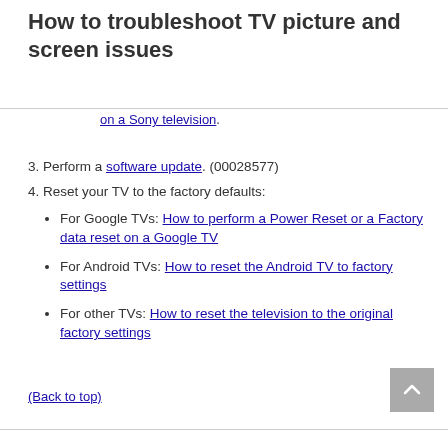How to troubleshoot TV picture and screen issues
on a Sony television.
3. Perform a software update. (00028577)
4. Reset your TV to the factory defaults:
For Google TVs: How to perform a Power Reset or a Factory data reset on a Google TV
For Android TVs: How to reset the Android TV to factory settings
For other TVs: How to reset the television to the original factory settings
(Back to top)